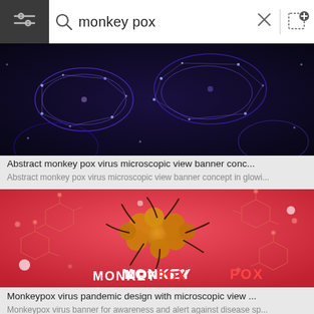[Figure (screenshot): Mobile image search interface showing search bar with 'monkey pox' query, hamburger/filter menu on left, search icon, close (X) button, and image upload icon]
[Figure (photo): Abstract monkey pox virus microscopic view banner concept in glowing blue/purple tones on dark background showing elongated virus particles]
Abstract monkey pox virus microscopic view banner conc...
Abstract monkey pox virus microscopic view banner concept in glowi...
[Figure (illustration): Monkeypox virus pandemic design with red gradient background, golden/orange virus illustration in center, molecular structures on sides, and MONKEYPOX text with white and red coloring]
Monkeypox virus pandemic design with microscopic view ...
Monkeypox virus banner for awareness and alert against disease sp...